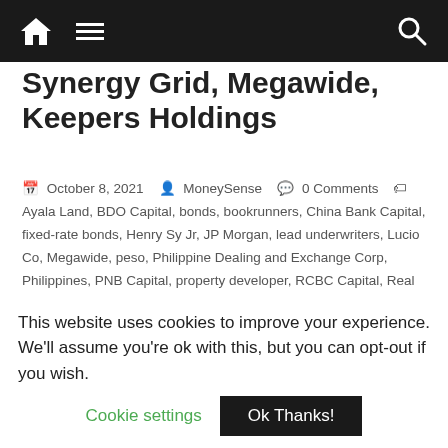Navigation bar with home icon, menu icon, and search icon
Synergy Grid, Megawide, Keepers Holdings
October 8, 2021   MoneySense   0 Comments   Ayala Land, BDO Capital, bonds, bookrunners, China Bank Capital, fixed-rate bonds, Henry Sy Jr, JP Morgan, lead underwriters, Lucio Co, Megawide, peso, Philippine Dealing and Exchange Corp, Philippines, PNB Capital, property developer, RCBC Capital, Real Estate, Robert Coyiuto Jr, SB Capital, SEC, Securities and Exchange Commission, Shares, Synergy Grid, The Keepers Holdings, UBS AG Singapore
The Securities and Exchange Commission (SEC) has considered favorably the public offerings by Ayala Land,
This website uses cookies to improve your experience. We'll assume you're ok with this, but you can opt-out if you wish.